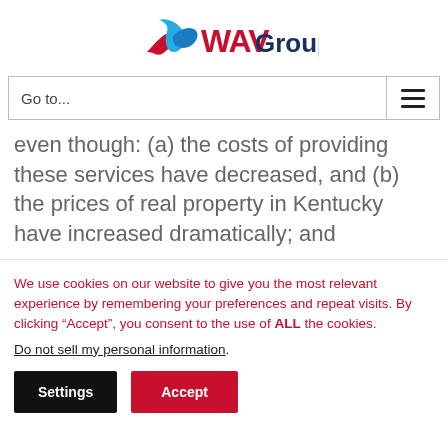[Figure (logo): WAV Group logo with stylized blue and red ribbon/wave mark and text 'WAV Group' in dark navy]
Go to...
even though: (a) the costs of providing these services have decreased, and (b) the prices of real property in Kentucky have increased dramatically; and
We use cookies on our website to give you the most relevant experience by remembering your preferences and repeat visits. By clicking “Accept”, you consent to the use of ALL the cookies.
Do not sell my personal information.
Settings  Accept